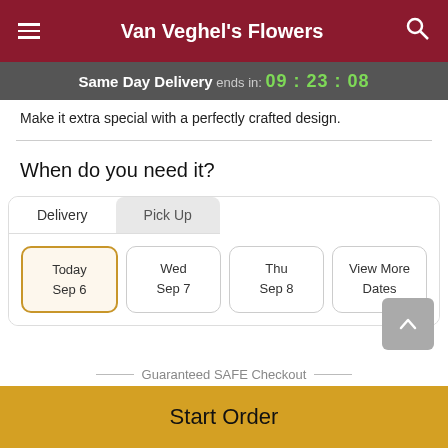Van Veghel's Flowers
Same Day Delivery ends in: 09:23:08
Make it extra special with a perfectly crafted design.
When do you need it?
Delivery | Pick Up
Today Sep 6
Wed Sep 7
Thu Sep 8
View More Dates
Guaranteed SAFE Checkout
Start Order